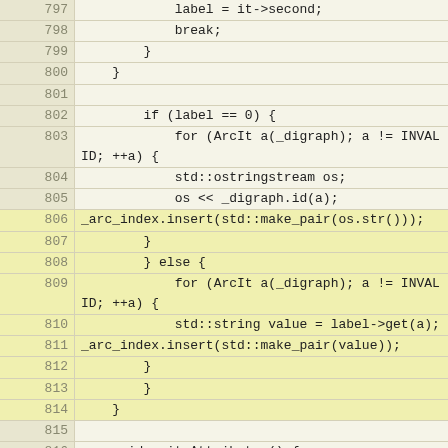[Figure (screenshot): Source code viewer showing C++ code lines 797-820, with line numbers in a beige/tan gutter on the left and code in a light yellow background on the right. Lines 806-814 are highlighted in yellow.]